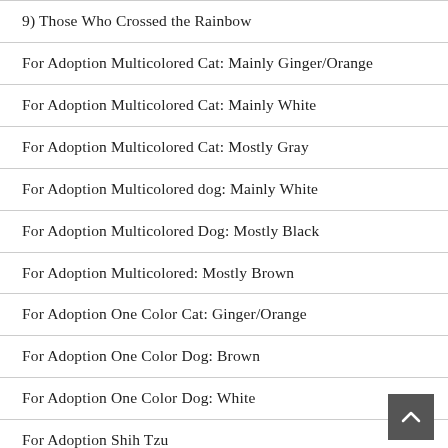9) Those Who Crossed the Rainbow
For Adoption Multicolored Cat: Mainly Ginger/Orange
For Adoption Multicolored Cat: Mainly White
For Adoption Multicolored Cat: Mostly Gray
For Adoption Multicolored dog: Mainly White
For Adoption Multicolored Dog: Mostly Black
For Adoption Multicolored: Mostly Brown
For Adoption One Color Cat: Ginger/Orange
For Adoption One Color Dog: Brown
For Adoption One Color Dog: White
For Adoption Shih Tzu
Found Multicolored Cat: Mainly White